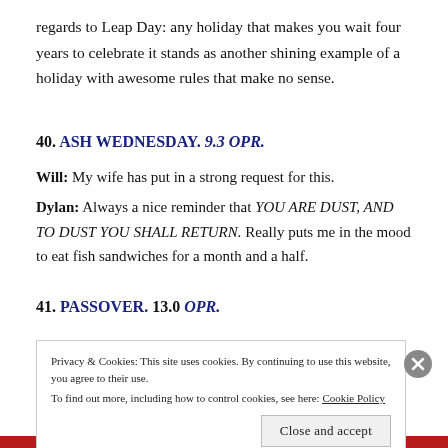regards to Leap Day: any holiday that makes you wait four years to celebrate it stands as another shining example of a holiday with awesome rules that make no sense.
40. ASH WEDNESDAY. 9.3 OPR.
Will: My wife has put in a strong request for this.
Dylan: Always a nice reminder that YOU ARE DUST, AND TO DUST YOU SHALL RETURN. Really puts me in the mood to eat fish sandwiches for a month and a half.
41. PASSOVER. 13.0 OPR.
Privacy & Cookies: This site uses cookies. By continuing to use this website, you agree to their use. To find out more, including how to control cookies, see here: Cookie Policy
Close and accept